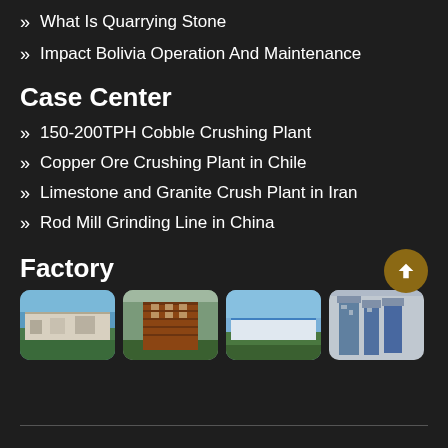What Is Quarrying Stone
Impact Bolivia Operation And Maintenance
Case Center
150-200TPH Cobble Crushing Plant
Copper Ore Crushing Plant in Chile
Limestone and Granite Crush Plant in Iran
Rod Mill Grinding Line in China
Factory
[Figure (photo): Four factory/industrial building photos shown in a row with rounded corners]